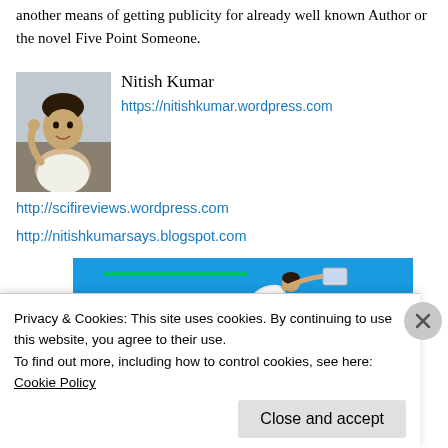another means of getting publicity for already well known Author or the novel Five Point Someone.
[Figure (photo): Photo of Nitish Kumar, a young man, with name text 'Nitish Kumar' beside it and a link https://nitishkumar.wordpress.com]
http://scifireviews.wordpress.com
http://nitishkumarsays.blogspot.com
[Figure (photo): Blue background banner image showing a person leaping/diving with a laptop, with a green underline element near the top]
Privacy & Cookies: This site uses cookies. By continuing to use this website, you agree to their use.
To find out more, including how to control cookies, see here: Cookie Policy